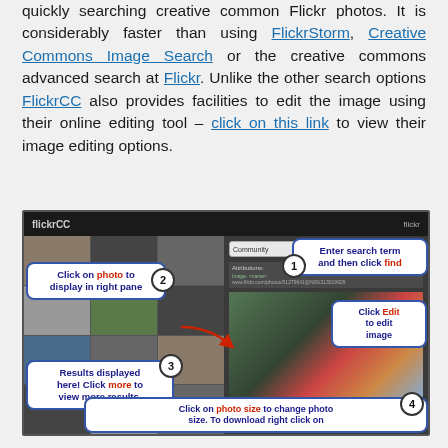quickly searching creative common Flickr photos. It is considerably faster than using FlickrStorm, Creative Commons Image Search or the creative commons advanced search at Flickr. Unlike the other search options FlickrCC also provides facilities to edit the image using their online editing tool – click on this link to view their image editing options.
[Figure (screenshot): Screenshot of flickrCC website interface showing numbered callout bubbles: 1) Enter search term and then click find, 2) Click on photo to display in right pane, 3) Results displayed here! Click more to view more results, 4) Click on photo size to change photo size. To download right click on. Also shows Click Edit to edit image callout.]